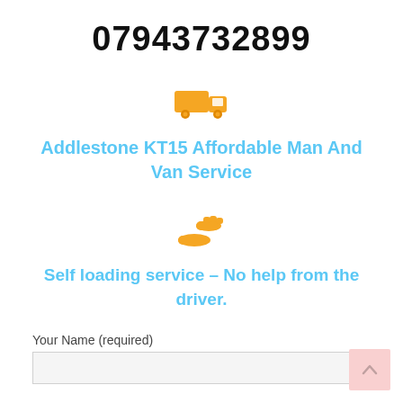07943732899
[Figure (illustration): Orange delivery truck icon]
Addlestone KT15 Affordable Man And Van Service
[Figure (illustration): Orange hand receiving money/service icon]
Self loading service – No help from the driver.
Your Name (required)